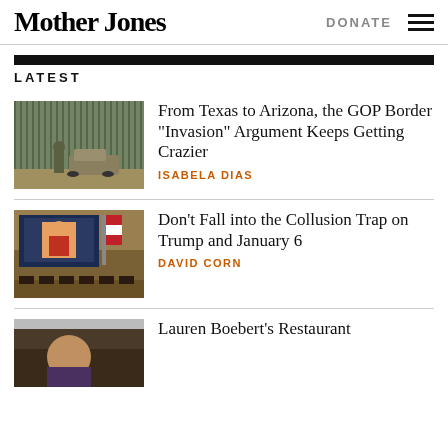Mother Jones | DONATE
LATEST
[Figure (photo): Military vehicle and soldier standing near a tall border wall fence]
From Texas to Arizona, the GOP Border “Invasion” Argument Keeps Getting Crazier
ISABELA DIAS
[Figure (photo): Congressional hearing room with large screen showing Trump, officials seated at long bench]
Don’t Fall into the Collusion Trap on Trump and January 6
DAVID CORN
[Figure (photo): Person in restaurant setting, partially visible]
Lauren Boebert’s Restaurant